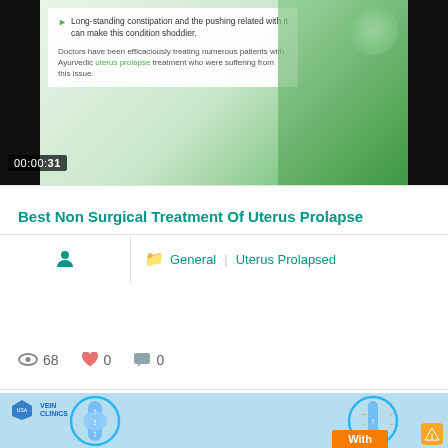[Figure (screenshot): Video screenshot at 00:00:31 showing Ayurvedic uterus prolapse treatment information with bullet points and green background with vegetables. Text: 'Long-standing constipation and the pushing related with it can make this condition shoddier.' and 'Doctors have been efficaciously treating numerous patients with Ayurvedic uterus prolapse treatment who were suffering from this issue.']
Best Non Surgical Treatment Of Uterus Prolapse
General | Uterus Prolapsed
68 views, 0 likes, 0 comments
[Figure (illustration): USA Vein Clinics medical illustration showing leg vein anatomy comparison with circular diagrams and orange button labels. Shows 'With' label visible.]